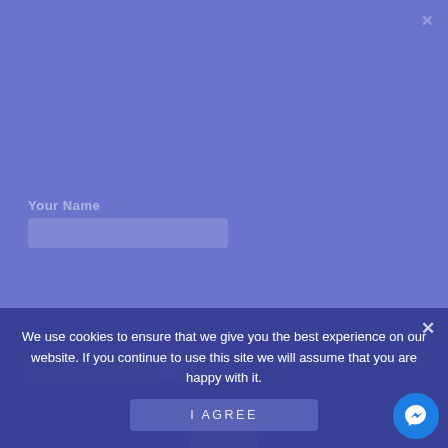[Figure (screenshot): A website form page with blue/purple background, partially obscured by a cookie consent overlay. The background shows faint form field labels and input boxes in blue tones. A loading spinner circle is visible near center. The bottom shows thumbnail image placeholders.]
We use cookies to ensure that we give you the best experience on our website. If you continue to use this site we will assume that you are happy with it.
I AGREE